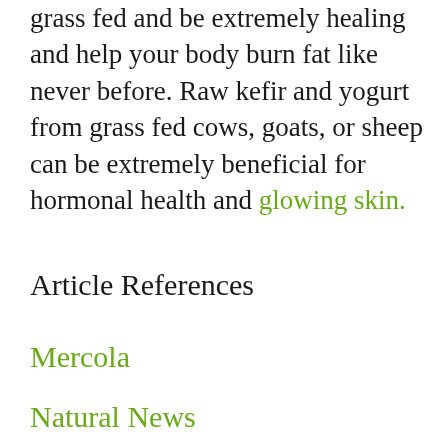grass fed and be extremely healing and help your body burn fat like never before. Raw kefir and yogurt from grass fed cows, goats, or sheep can be extremely beneficial for hormonal health and glowing skin.
Article References
Mercola
Natural News